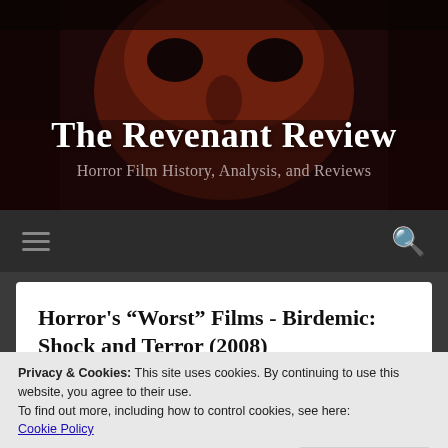[Figure (screenshot): Dark horror website header banner with reddish-brown creature face in background]
The Revenant Review
Horror Film History, Analysis, and Reviews
[Figure (illustration): Navigation bar with hamburger menu icon on left and search icon on right, dark background]
Horror’s “Worst” Films - Birdemic: Shock and Terror (2008)
Privacy & Cookies: This site uses cookies. By continuing to use this website, you agree to their use.
To find out more, including how to control cookies, see here: Cookie Policy
Close and accept